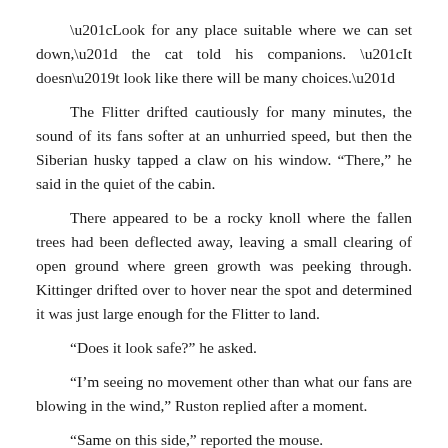“Look for any place suitable where we can set down,” the cat told his companions. “It doesn’t look like there will be many choices.”
The Flitter drifted cautiously for many minutes, the sound of its fans softer at an unhurried speed, but then the Siberian husky tapped a claw on his window. “There,” he said in the quiet of the cabin.
There appeared to be a rocky knoll where the fallen trees had been deflected away, leaving a small clearing of open ground where green growth was peeking through. Kittinger drifted over to hover near the spot and determined it was just large enough for the Flitter to land.
“Does it look safe?” he asked.
“I’m seeing no movement other than what our fans are blowing in the wind,” Ruston replied after a moment.
“Same on this side,” reported the mouse.